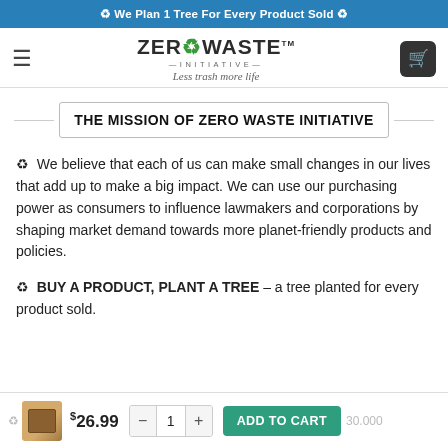♻ We Plan 1 Tree For Every Product Sold ♻
[Figure (logo): Zero Waste Initiative logo with tagline 'Less trash more life']
THE MISSION OF ZERO WASTE INITIATIVE
♻ We believe that each of us can make small changes in our lives that add up to make a big impact. We can use our purchasing power as consumers to influence lawmakers and corporations by shaping market demand towards more planet-friendly products and policies.
♻ BUY A PRODUCT, PLANT A TREE – a tree planted for every product sold.
$26.99  ADD TO CART